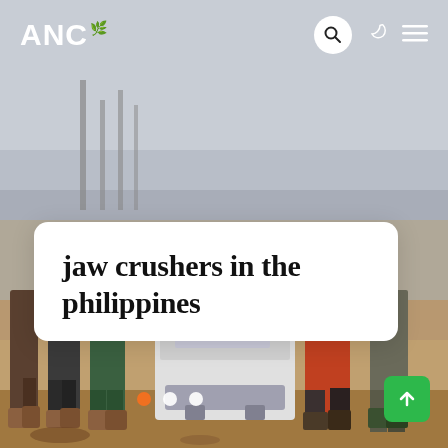[Figure (photo): Construction site photo showing workers standing in front of a jaw crusher machine on a sandy/dirt ground, with steel rebar columns in the background against a hazy sky. Multiple workers are visible from the waist down.]
ANC
jaw crushers in the philippines